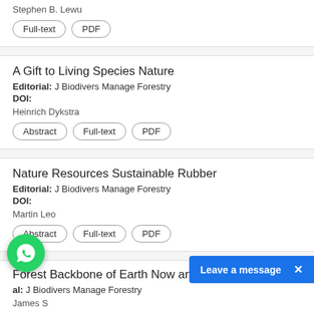Stephen B. Lewu
Full-text | PDF
A Gift to Living Species Nature
Editorial: J Biodivers Manage Forestry
DOI:
Heinrich Dykstra
Abstract | Full-text | PDF
Nature Resources Sustainable Rubber
Editorial: J Biodivers Manage Forestry
DOI:
Martin Leo
Abstract | Full-text | PDF
Forest Backbone of Earth Now and Ever
Editorial: J Biodivers Manage Forestry
James S
Abstract | Full-text | PDF